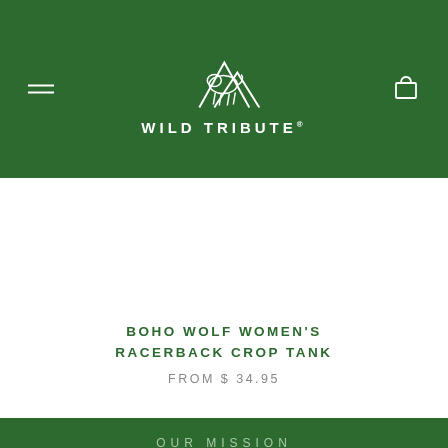WILD TRIBUTE
BOHO WOLF WOMEN'S RACERBACK CROP TANK
FROM $ 34.95
OUR MISSION
Wild Tribute was founded 4 our parks and public lands.
We donate 4% of our proceeds to support America's most wild and historic places.